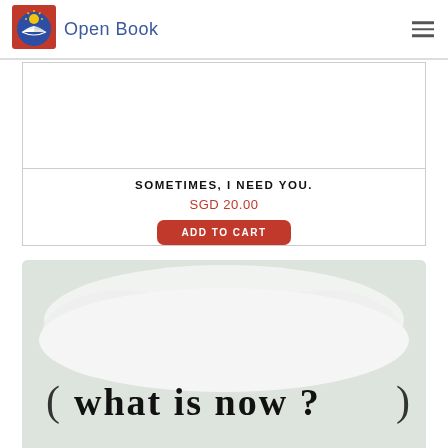Open Book
[Figure (illustration): Open Book logo: red square background with blue circle containing a white open book and yellow sun above. Text 'Open Book' in blue to the right.]
SOMETIMES, I NEED YOU.
SGD 20.00
ADD TO CART
[Figure (photo): Partial view of a book cover or artwork with light grey/green background, white cloud-like shape, and handwritten text reading 'what is now ?']